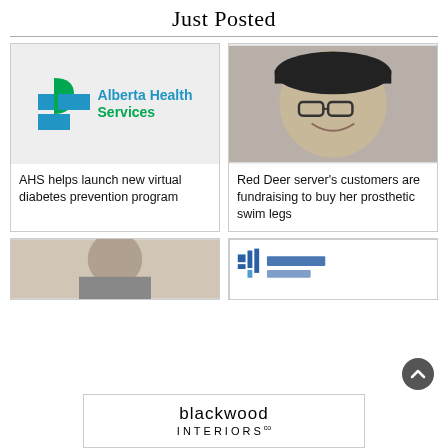Just Posted
[Figure (logo): Alberta Health Services logo with blue and green cross and teal text]
AHS helps launch new virtual diabetes prevention program
[Figure (photo): Smiling woman wearing a black cap and glasses, standing at a counter]
Red Deer server’s customers are fundraising to buy her prosthetic swim legs
[Figure (photo): Partial photo of a person, cropped at bottom of page]
[Figure (logo): Partial blue logo visible at bottom right, partially obscured by scroll button]
[Figure (logo): Blackwood Interiors advertisement banner at the bottom of the page]